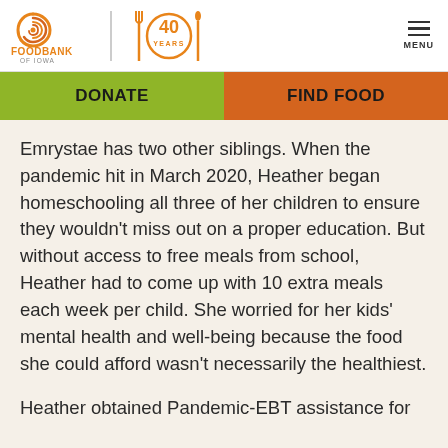[Figure (logo): Food Bank of Iowa logo with orange swirl icon and text 'FOODBANK OF IOWA', next to a 40 Years anniversary graphic with fork, circle, and spoon in orange]
DONATE
FIND FOOD
Emrystae has two other siblings. When the pandemic hit in March 2020, Heather began homeschooling all three of her children to ensure they wouldn't miss out on a proper education. But without access to free meals from school, Heather had to come up with 10 extra meals each week per child. She worried for her kids' mental health and well-being because the food she could afford wasn't necessarily the healthiest.
Heather obtained Pandemic-EBT assistance for